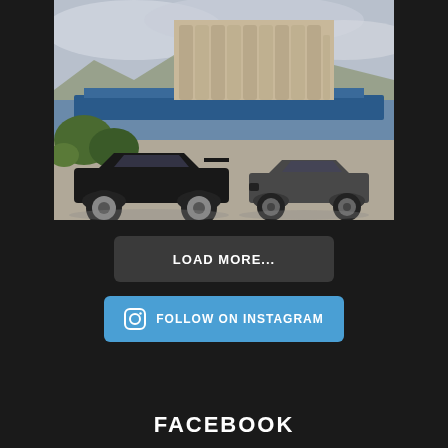[Figure (photo): Two modified/widebody sports cars (Mazda Miata/MX-5 style) parked near a waterfront with a large industrial grain elevator building in the background and a blue cargo ship. Left car is black with wide fenders and aftermarket wheels, right car is dark gray. Overcast sky.]
LOAD MORE...
FOLLOW ON INSTAGRAM
FACEBOOK